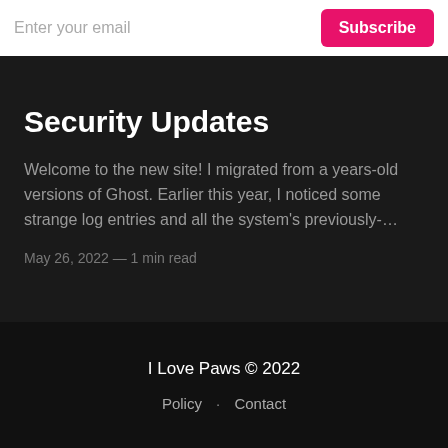[Figure (screenshot): Email subscription bar with 'Enter your email' placeholder input and a pink 'Subscribe' button on white background]
Security Updates
Welcome to the new site! I migrated from a years-old versions of Ghost. Earlier this year, I noticed some strange log entries and all the system's previously-…
May 26, 2022 — 1 min read
I Love Paws © 2022
Policy · Contact